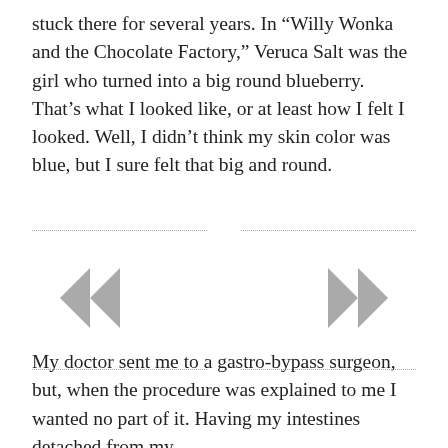stuck there for several years. In “Willy Wonka and the Chocolate Factory,” Veruca Salt was the girl who turned into a big round blueberry. That’s what I looked like, or at least how I felt I looked. Well, I didn’t think my skin color was blue, but I sure felt that big and round.
[Figure (other): Navigation arrows: left double chevron («) on the left, right double chevron (») on the right, flanked by dotted horizontal lines top and bottom]
My doctor sent me to a gastro-bypass surgeon, but, when the procedure was explained to me I wanted no part of it. Having my intestines detached from my